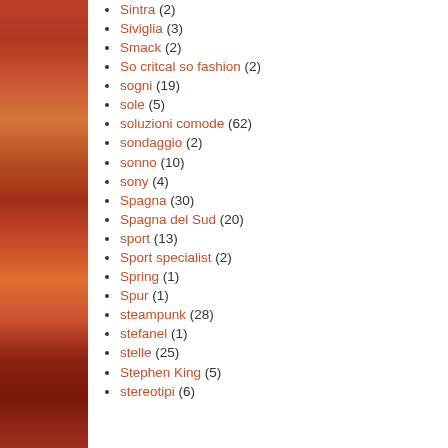Sintra (2)
Siviglia (3)
Smack (2)
So critcal so fashion (2)
sogni (19)
sole (5)
soluzioni comode (62)
sondaggio (2)
sonno (10)
sony (4)
Spagna (30)
Spagna del Sud (20)
sport (13)
Sport specialist (2)
Spring (1)
Spur (1)
steampunk (28)
stefanel (1)
stelle (25)
Stephen King (5)
stereotipi (6)